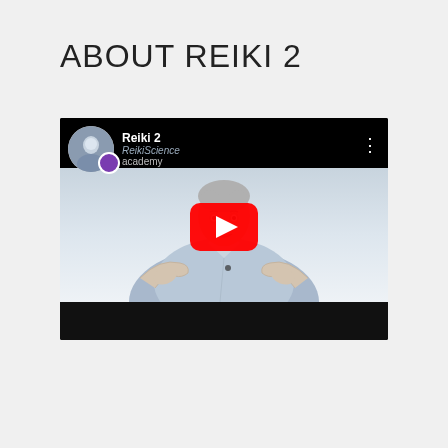ABOUT REIKI 2
[Figure (screenshot): YouTube video thumbnail showing a man with grey hair gesturing with both hands, wearing a light blue shirt. The video is titled 'Reiki 2' with a ReikiScience Academy channel logo. A red YouTube play button is centered on the video.]